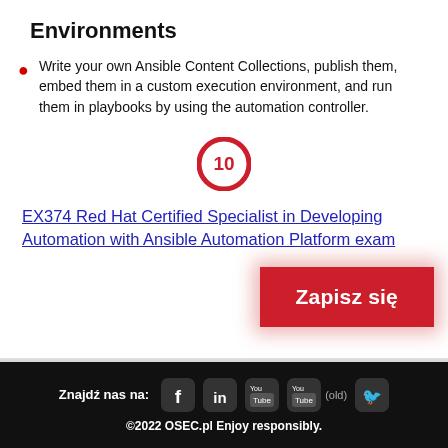Environments
Write your own Ansible Content Collections, publish them, embed them in a custom execution environment, and run them in playbooks by using the automation controller.
[Figure (other): Red circular badge with the number 10 inside, outlined with a thick red ring]
EX374 Red Hat Certified Specialist in Developing Automation with Ansible Automation Platform exam
[Figure (other): Red button labeled Zapisz się]
Znajdź nas na: [Facebook] [LinkedIn] [YouTube] [YouTube (old)] [Twitter] ©2022 OSEC.pl Enjoy responsibly.